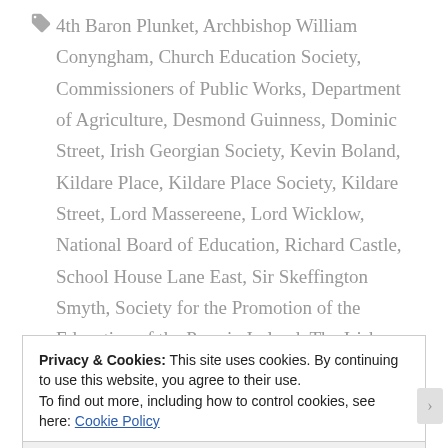4th Baron Plunket, Archbishop William Conyngham, Church Education Society, Commissioners of Public Works, Department of Agriculture, Desmond Guinness, Dominic Street, Irish Georgian Society, Kevin Boland, Kildare Place, Kildare Place Society, Kildare Street, Lord Massereene, Lord Wicklow, National Board of Education, Richard Castle, School House Lane East, Sir Skeffington Smyth, Society for the Promotion of the Education of the Poor in Ireland, The Irish Aesthete, Tyrone House
Privacy & Cookies: This site uses cookies. By continuing to use this website, you agree to their use.
To find out more, including how to control cookies, see here: Cookie Policy
Close and accept